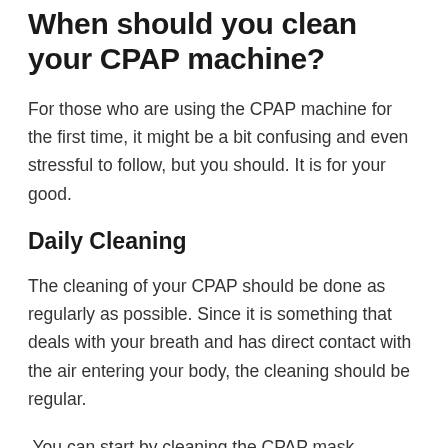When should you clean your CPAP machine?
For those who are using the CPAP machine for the first time, it might be a bit confusing and even stressful to follow, but you should. It is for your good.
Daily Cleaning
The cleaning of your CPAP should be done as regularly as possible. Since it is something that deals with your breath and has direct contact with the air entering your body, the cleaning should be regular.
You can start by cleaning the CPAP mask cushion. Over time, the skin produces some oils that can dampen the effectiveness and performance of the